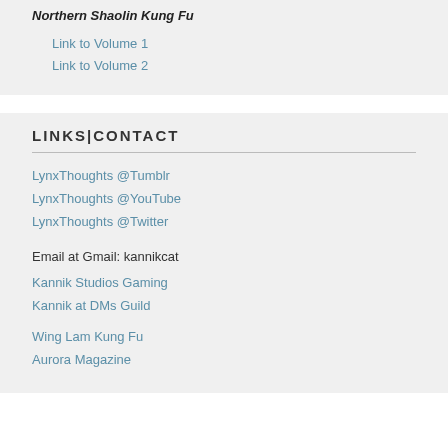Northern Shaolin Kung Fu
Link to Volume 1
Link to Volume 2
LINKS|CONTACT
LynxThoughts @Tumblr
LynxThoughts @YouTube
LynxThoughts @Twitter
Email at Gmail: kannikcat
Kannik Studios Gaming
Kannik at DMs Guild
Wing Lam Kung Fu
Aurora Magazine